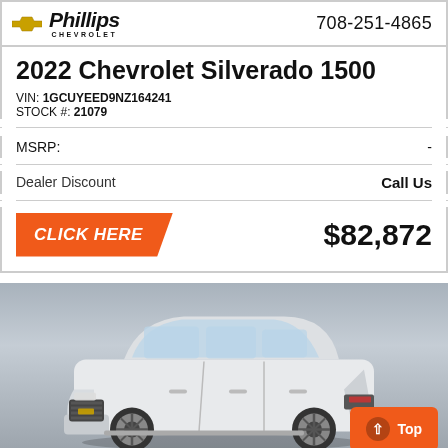Phillips Chevrolet | 708-251-4865
2022 Chevrolet Silverado 1500
VIN: 1GCUYEED9NZ164241
STOCK #: 21079
MSRP: -
Dealer Discount  Call Us
CLICK HERE  $82,872
[Figure (photo): White Chevrolet SUV (Tahoe/Suburban style) front 3/4 view on gradient grey background]